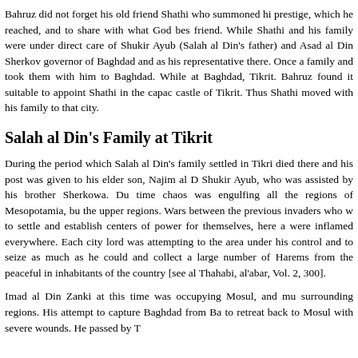Bahruz did not forget his old friend Shathi who summoned hi prestige, which he reached, and to share with what God bes friend. While Shathi and his family were under direct care of Shukir Ayub (Salah al Din's father) and Asad al Din Sherko governor of Baghdad and as his representative there. Once a family and took them with him to Baghdad. While at Baghdad, Tikrit. Bahruz found it suitable to appoint Shathi in the capac castle of Tikrit. Thus Shathi moved with his family to that city.
Salah al Din's Family at Tikrit
During the period which Salah al Din's family settled in Tikri died there and his post was given to his elder son, Najim al D Shukir Ayub, who was assisted by his brother Sherkowa. Du time chaos was engulfing all the regions of Mesopotamia, bu the upper regions. Wars between the previous invaders who w to settle and establish centers of power for themselves, here a were inflamed everywhere. Each city lord was attempting to the area under his control and to seize as much as he could and collect a large number of Harems from the peaceful in inhabitants of the country [see al Thahabi, al'abar, Vol. 2, 300].
Imad al Din Zanki at this time was occupying Mosul, and mu surrounding regions. His attempt to capture Baghdad from Ba to retreat back to Mosul with severe wounds. He passed by T